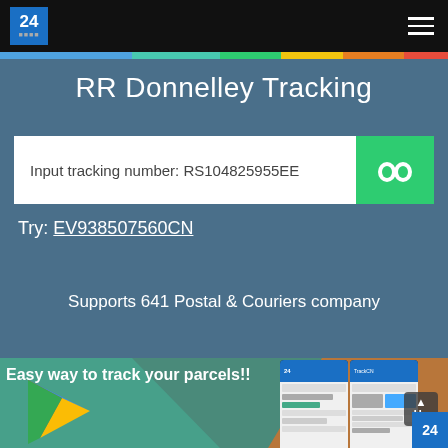24 [nav logo] [hamburger menu]
RR Donnelley Tracking
Input tracking number: RS104825955EE
Try: EV938507560CN
Supports 641 Postal & Couriers company
Easy way to track your parcels!!
[Figure (screenshot): Google Play Store logo with colorful triangle and phone app screenshots showing the tracking app interface. An 'Up' button and a '24' logo are visible in the bottom right corner.]